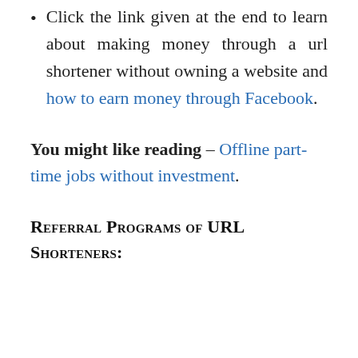Click the link given at the end to learn about making money through a url shortener without owning a website and how to earn money through Facebook.
You might like reading – Offline part-time jobs without investment.
Referral Programs of URL Shorteners: